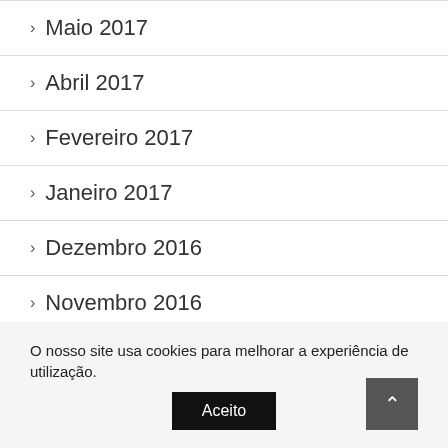Maio 2017
Abril 2017
Fevereiro 2017
Janeiro 2017
Dezembro 2016
Novembro 2016
Outubro 2016
O nosso site usa cookies para melhorar a experiência de utilização.
Aceito